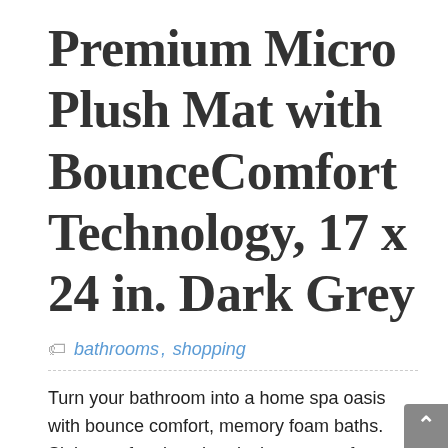Premium Micro Plush Mat with BounceComfort Technology, 17 x 24 in. Dark Grey
bathrooms, shopping
Turn your bathroom into a home spa oasis with bounce comfort, memory foam baths. Sink your feet into the plush, super soft comfort of memory foam each time you step out